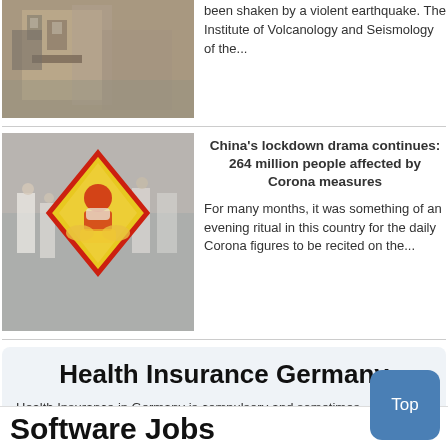[Figure (photo): Earthquake-damaged building, black and white photo]
been shaken by a violent earthquake. The Institute of Volcanology and Seismology of the...
[Figure (photo): People walking in street with COVID warning sign overlay]
China's lockdown drama continues: 264 million people affected by Corona measures
For many months, it was something of an evening ritual in this country for the daily Corona figures to be recited on the...
Health Insurance Germany
Health Insurance in Germany is compulsory and sometimes complicated, not to mention expensive (see here for our PKV Cost comparison tool). For our guide on resources and access to agents who can give you a competitive quote, just click below.
Software Jobs